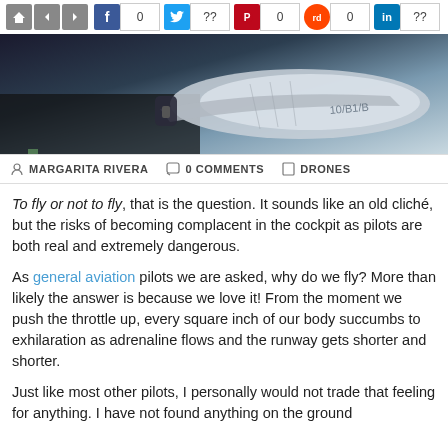Social share bar: Facebook 0, Twitter ??, Pinterest 0, Reddit 0, LinkedIn ??
[Figure (photo): Close-up photo of a small aircraft, showing the fuselage and wing, partially covered in plastic wrap, outdoors in sunlight.]
MARGARITA RIVERA  0 COMMENTS  DRONES
To fly or not to fly, that is the question. It sounds like an old cliché, but the risks of becoming complacent in the cockpit as pilots are both real and extremely dangerous.
As general aviation pilots we are asked, why do we fly? More than likely the answer is because we love it! From the moment we push the throttle up, every square inch of our body succumbs to exhilaration as adrenaline flows and the runway gets shorter and shorter.
Just like most other pilots, I personally would not trade that feeling for anything. I have not found anything on the ground